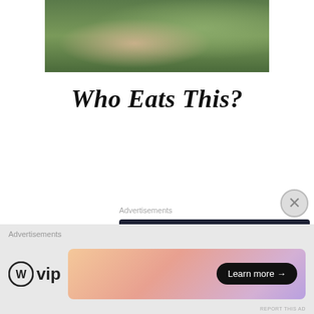[Figure (photo): Partially cropped photo showing figures in green/nature-themed costumes or setting]
Who Eats This?
Advertisements
[Figure (screenshot): Dark navy advertisement banner: bonsai tree icon on white circle, teal text 'Launch your online course with WordPress', white 'Learn More' button with underline]
REPORT THIS AD
[Figure (photo): Close-up photo of a man's face with dark hair, looking skeptical or confused, from a TV show (The Office)]
Advertisements
[Figure (screenshot): WordPress VIP logo on left; gradient pink/purple advertisement box with 'Learn more →' black pill button]
REPORT THIS AD